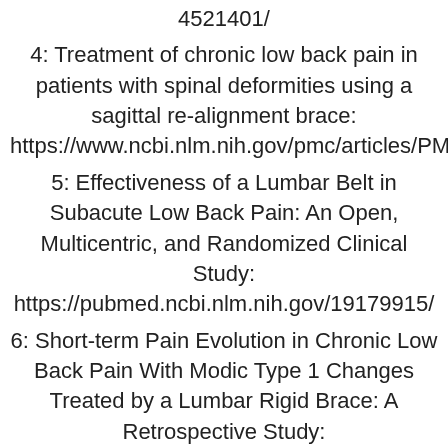4521401/
4: Treatment of chronic low back pain in patients with spinal deformities using a sagittal re-alignment brace: https://www.ncbi.nlm.nih.gov/pmc/articles/PMC2655283/
5: Effectiveness of a Lumbar Belt in Subacute Low Back Pain: An Open, Multicentric, and Randomized Clinical Study: https://pubmed.ncbi.nlm.nih.gov/19179915/
6: Short-term Pain Evolution in Chronic Low Back Pain With Modic Type 1 Changes Treated by a Lumbar Rigid Brace: A Retrospective Study: https://pubmed.ncbi.nlm.nih.gov/30053630/
7: Non-specific chronic low back pain in